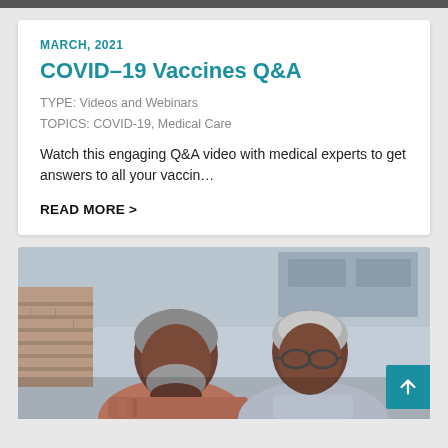MARCH, 2021
COVID-19 Vaccines Q&A
TYPE: Videos and Webinars
TOPICS: COVID-19, Medical Care
Watch this engaging Q&A video with medical experts to get answers to all your vaccin…
READ MORE >
[Figure (photo): Two older African American adults, a man and a woman wearing glasses, looking down together, likely at a document or device, in a kitchen setting.]